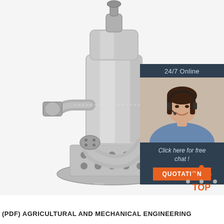[Figure (photo): Stainless steel submersible pump with curved intake pipe and perforated base stand, photographed on white background]
[Figure (infographic): Dark blue sidebar box showing '24/7 Online' text, a customer service representative with headset, 'Click here for free chat!' text, and an orange QUOTATION button]
[Figure (logo): Orange and grey TOP logo — triangle of dots above the word TOP in orange]
(PDF) AGRICULTURAL AND MECHANICAL ENGINEERING